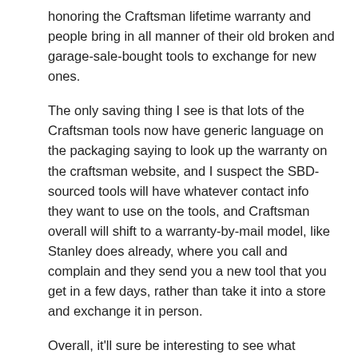honoring the Craftsman lifetime warranty and people bring in all manner of their old broken and garage-sale-bought tools to exchange for new ones.
The only saving thing I see is that lots of the Craftsman tools now have generic language on the packaging saying to look up the warranty on the craftsman website, and I suspect the SBD-sourced tools will have whatever contact info they want to use on the tools, and Craftsman overall will shift to a warranty-by-mail model, like Stanley does already, where you call and complain and they send you a new tool that you get in a few days, rather than take it into a store and exchange it in person.
Overall, it'll sure be interesting to see what happens the more places Craftsman tools are sold.
REPLY